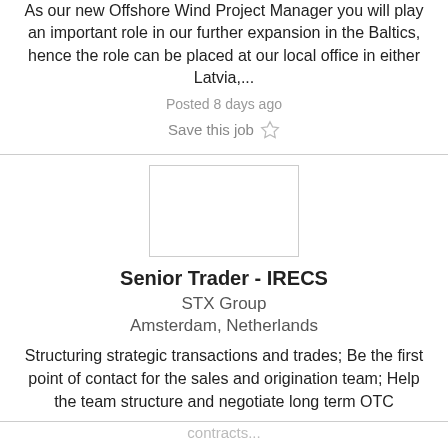As our new Offshore Wind Project Manager you will play an important role in our further expansion in the Baltics, hence the role can be placed at our local office in either Latvia,...
Posted 8 days ago
Save this job ☆
[Figure (logo): Company logo placeholder — empty white rectangle with border]
Senior Trader - IRECS
STX Group
Amsterdam, Netherlands
Structuring strategic transactions and trades; Be the first point of contact for the sales and origination team; Help the team structure and negotiate long term OTC
contracts...
This website uses cookies to make your experience better. Continued use of this website means you accept our cookie policy. Accept Cookies